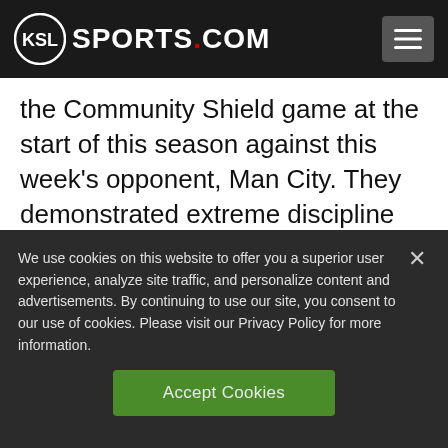KSL SPORTS.COM
the Community Shield game at the start of this season against this week’s opponent, Man City. They demonstrated extreme discipline and the midfield gave them the platform to perform brilliantly.
We use cookies on this website to offer you a superior user experience, analyze site traffic, and personalize content and advertisements. By continuing to use our site, you consent to our use of cookies. Please visit our Privacy Policy for more information.
Accept Cookies